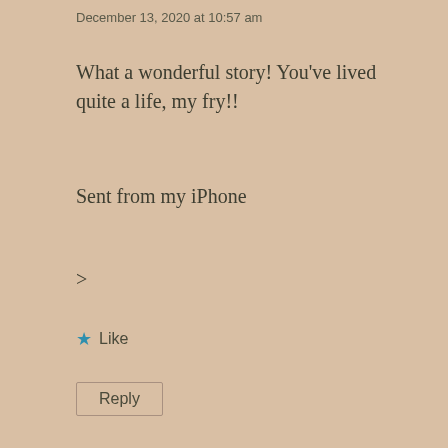December 13, 2020 at 10:57 am
What a wonderful story! You've lived quite a life, my fry!!
Sent from my iPhone
>
★ Like
Reply
Diana Blair Revell ▲
December 13, 2020 at 1:56 pm